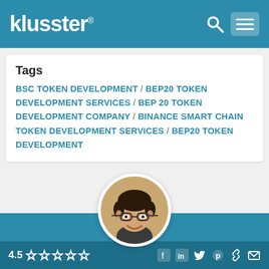klusster®
Tags
BSC TOKEN DEVELOPMENT / BEP20 TOKEN DEVELOPMENT SERVICES / BEP 20 TOKEN DEVELOPMENT COMPANY / BINANCE SMART CHAIN TOKEN DEVELOPMENT SERVICES / BEP20 TOKEN DEVELOPMENT
[Figure (photo): Circular profile photo of a man with glasses and curly hair, smiling]
jackricher
4.5 stars — social icons: Facebook, LinkedIn, Twitter, Pinterest, link, email